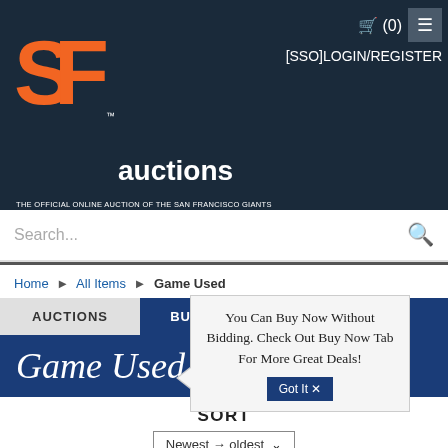[Figure (screenshot): SF Giants Auctions website header with orange SF Giants logo, 'auctions' text, cart icon showing (0), login/register link, and hamburger menu]
Search...
Home ▶ All Items ▶ Game Used
AUCTIONS
BUY NOW
Game Used
You Can Buy Now Without Bidding. Check Out Buy Now Tab For More Great Deals!
Got It ✕
SORT
Newest → oldest ∨
Current Filters:
Jerseys ✕